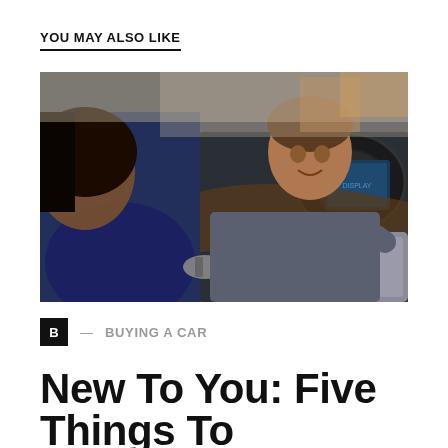YOU MAY ALSO LIKE
[Figure (photo): A man sitting in the driver's seat of a car smiles while showing features of the car's interior dashboard and touchscreen to a woman standing outside the car door, who is holding keys.]
B — BUYING A CAR
New To You: Five Things To